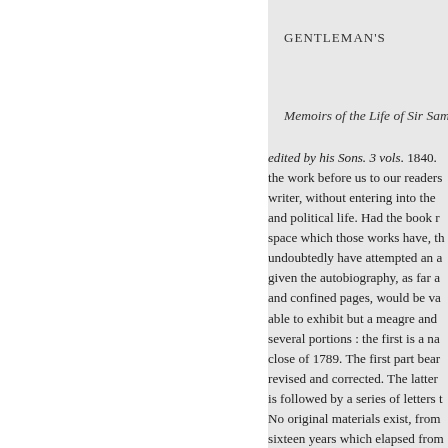GENTLEMAN'S
Memoirs of the Life of Sir Sam
edited by his Sons. 3 vols. 1840. the work before us to our readers writer, without entering into the and political life. Had the book r space which those works have, th undoubtedly have attempted an a given the autobiography, as far a and confined pages, would be va able to exhibit but a meagre and several portions : the first is a na close of 1789. The first part bear revised and corrected. The latter is followed by a series of letters t No original materials exist, from sixteen years which elapsed from letters to friends, a diary of a sho history of his life in 1805. The l